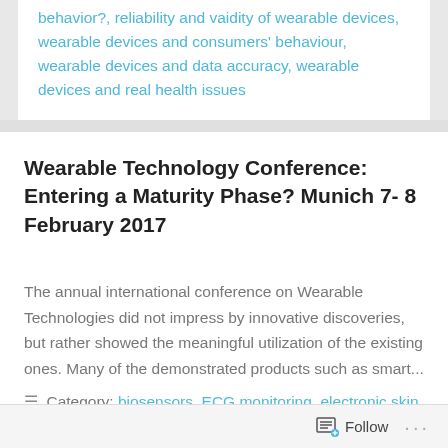behavior?, reliability and vaidity of wearable devices, wearable devices and consumers' behaviour, wearable devices and data accuracy, wearable devices and real health issues
Wearable Technology Conference: Entering a Maturity Phase? Munich 7- 8 February 2017
The annual international conference on Wearable Technologies did not impress by innovative discoveries, but rather showed the meaningful utilization of the existing ones. Many of the demonstrated products such as smart...
Category: biosensors, ECG monitoring, electronic skin, flexible patches, graphene biosensor chip, Health sensors,